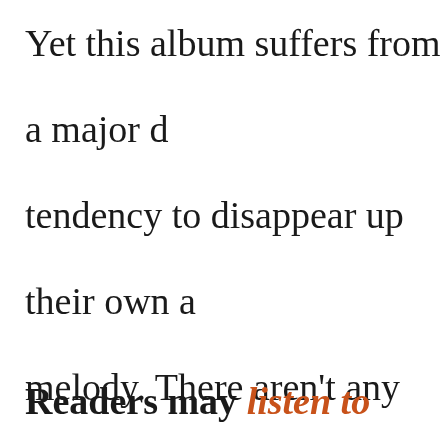Yet this album suffers from a major d... tendency to disappear up their own a... melody. There aren't any comically aw... are inappropriate and others repeated... room and the band never seem to be ... lyrics before their riffs overstay their w... while waiting for the band to introduc... trickery would fix this; the fat needs t... concise. A leaner, more refined Death... average position in which they sit now...
Readers may listen to Deathless Ma... Fortress's Bandcamp page and pur...